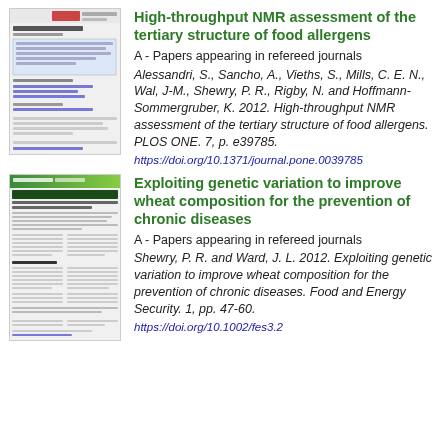[Figure (screenshot): Thumbnail of a scientific paper/document page with header, abstract box, and reference links]
High-throughput NMR assessment of the tertiary structure of food allergens
A - Papers appearing in refereed journals
Alessandri, S., Sancho, A., Vieths, S., Mills, C. E. N., Wal, J-M., Shewry, P. R., Rigby, N. and Hoffmann-Sommergruber, K. 2012. High-throughput NMR assessment of the tertiary structure of food allergens. PLOS ONE. 7, p. e39785.
https://doi.org/10.1371/journal.pone.0039785
[Figure (screenshot): Thumbnail of a Food and Energy Security journal article page with green header and multi-column body text]
Exploiting genetic variation to improve wheat composition for the prevention of chronic diseases
A - Papers appearing in refereed journals
Shewry, P. R. and Ward, J. L. 2012. Exploiting genetic variation to improve wheat composition for the prevention of chronic diseases. Food and Energy Security. 1, pp. 47-60.
https://doi.org/10.1002/fes3.2